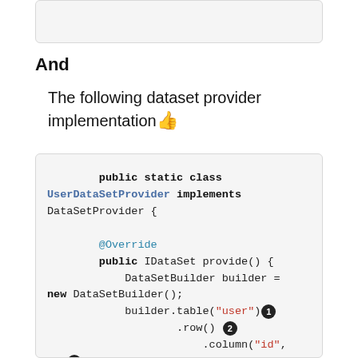[Figure (screenshot): Top gray rounded box, partially visible, likely a code block from previous section]
And
The following dataset provider implementation 👍
[Figure (screenshot): Code block showing public static class UserDataSetProvider implements DataSetProvider with @Override public IDataSet provide() method, DataSetBuilder builder = new DataSetBuilder(), builder.table("user") with callout 1, .row() with callout 2, .column("id", 1) with callout 3, .column("name", "@dbunit")]